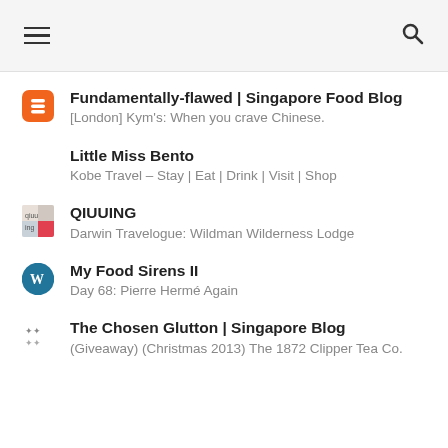☰  🔍
Fundamentally-flawed | Singapore Food Blog
[London] Kym's: When you crave Chinese.
Little Miss Bento
Kobe Travel – Stay | Eat | Drink | Visit | Shop
QIUUING
Darwin Travelogue: Wildman Wilderness Lodge
My Food Sirens II
Day 68: Pierre Hermé Again
The Chosen Glutton | Singapore Blog
(Giveaway) (Christmas 2013) The 1872 Clipper Tea Co.